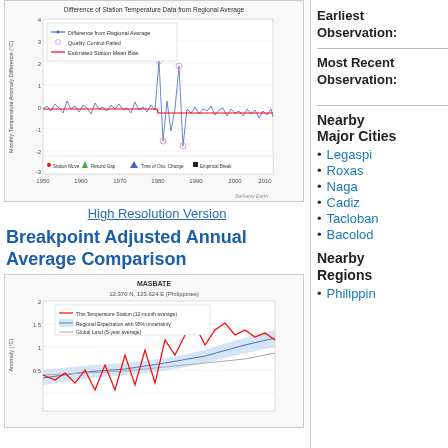[Figure (continuous-plot): Line chart titled 'Difference of Station Temperature Data from Regional Average' showing monthly temperature anomaly difference (°C) from 1950 to 2015. Contains blue line for Difference from Regional Average, pink circles for Quality Control Failed, and red line for Estimated Station Mean Bias. X-axis from 1950 to 2010+, y-axis from -3 to 4. Berkeley Earth watermark.]
High Resolution Version
Breakpoint Adjusted Annual Average Comparison
[Figure (continuous-plot): Line chart titled 'MASBATE 12.370 N, 123.624 E (Philippines)' showing temperature over time. Contains red line for This Temperature Station (12-month average), blue shaded area for Regional Expectation with 95% uncertainty, and gray line for Global Land (5-year average). Y-axis shows anomaly (°C) from about 0.5 to 2.]
Earliest Observation:
Most Recent Observation:
Nearby Major Cities
Legaspi
Roxas
Naga
Cadiz
Tacloban
Bacolod
Nearby Regions
Philippines